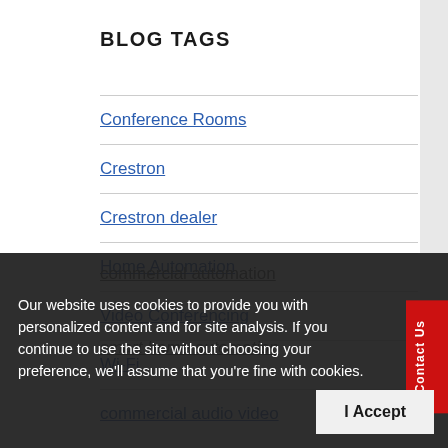BLOG TAGS
Conference Rooms
Crestron
Crestron dealer
Home Automation
Video Conferencing
Wi-Fi
commercial audio video
commercial automation
smart home automation
Our website uses cookies to provide you with personalized content and for site analysis. If you continue to use the site without choosing your preference, we'll assume that you're fine with cookies.
I Accept